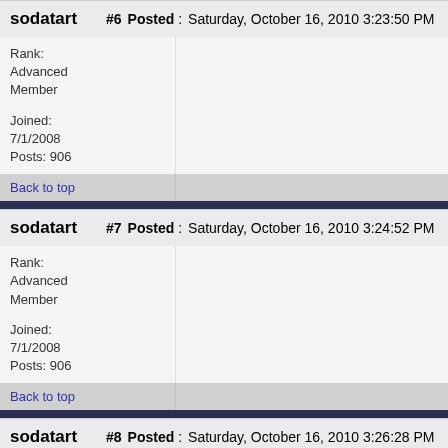sodatart #6 Posted : Saturday, October 16, 2010 3:23:50 PM
Rank: Advanced Member

Joined: 7/1/2008
Posts: 906
Back to top
sodatart #7 Posted : Saturday, October 16, 2010 3:24:52 PM
Rank: Advanced Member

Joined: 7/1/2008
Posts: 906
Back to top
sodatart #8 Posted : Saturday, October 16, 2010 3:26:28 PM
Rank: